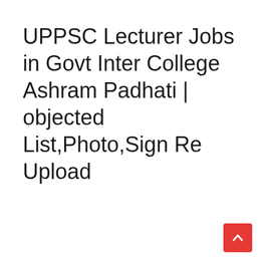UPPSC Lecturer Jobs in Govt Inter College Ashram Padhati | objected List,Photo,Sign Re Upload